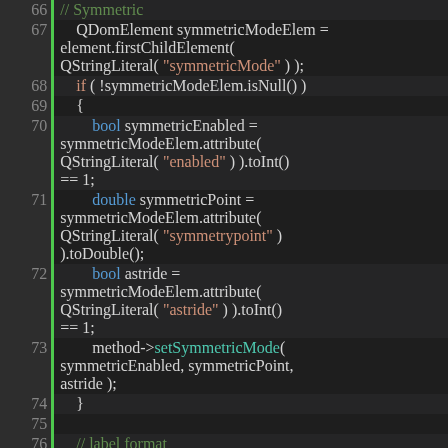[Figure (screenshot): Source code editor showing C++ code lines 66-81, with syntax highlighting. Line numbers in left gutter with green change indicators. Dark theme IDE. Code involves QDomElement, symmetric mode and label format XML parsing.]